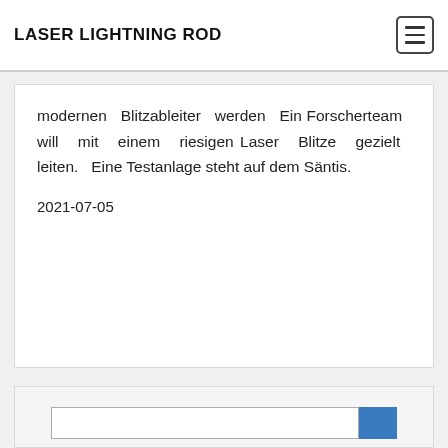LASER LIGHTNING ROD
modernen Blitzableiter werden Ein Forscherteam will mit einem riesigen Laser Blitze gezielt leiten. Eine Testanlage steht auf dem Säntis.
2021-07-05